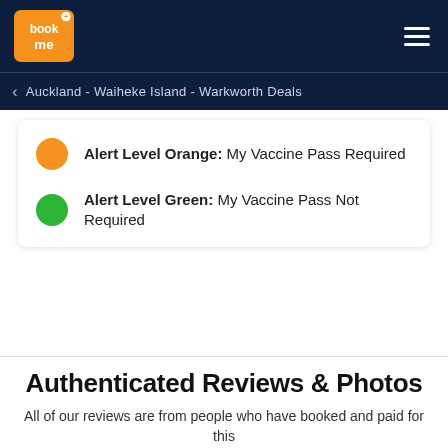BookMe logo and navigation header
Auckland - Waiheke Island - Warkworth Deals
Alert Level Orange: My Vaccine Pass Required
Alert Level Green: My Vaccine Pass Not Required
Authenticated Reviews & Photos
All of our reviews are from people who have booked and paid for this